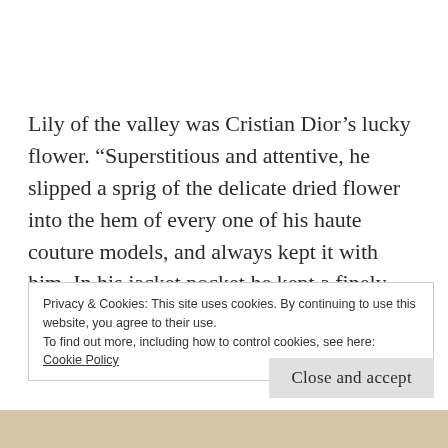Lily of the valley was Cristian Dior’s lucky flower. “Superstitious and attentive, he slipped a sprig of the delicate dried flower into the hem of every one of his haute couture models, and always kept it with him. In his jacket pocket he kept a finely crafted reliquary containing his beloved flower” – I am reading in the
Privacy & Cookies: This site uses cookies. By continuing to use this website, you agree to their use.
To find out more, including how to control cookies, see here:
Cookie Policy
Close and accept
[Figure (photo): Bottom strip showing a photo, partially visible, appears to be a floral or fabric texture in warm beige/cream tones.]